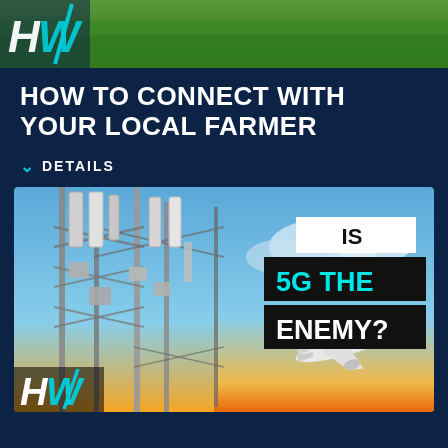[Figure (photo): Top banner image showing green grass/wheat field with partial HW logo visible in upper left corner]
HOW TO CONNECT WITH YOUR LOCAL FARMER
DETAILS
[Figure (photo): A cell tower / 5G telecommunications tower against a blue sky with clouds and an airplane in the lower right. Overlay text reads 'IS 5G THE ENEMY?' with HW logo in lower left corner.]